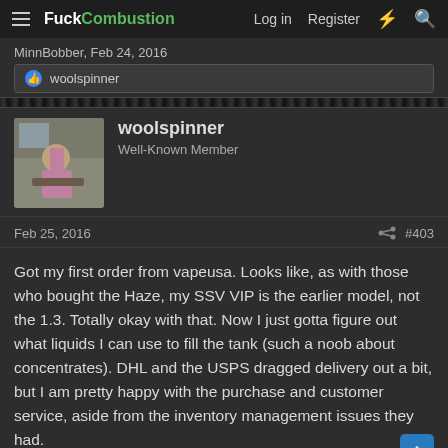FuckCombustion — Log in  Register
MinnBobber, Feb 24, 2016
woolspinner
woolspinner
Well-Known Member
Feb 25, 2016  #403
Got my first order from vapeusa. Looks like, as with those who bought the Haze, my SSV VIP is the earlier model, not the 1.3. Totally okay with that. Now I just gotta figure out what liquids I can use to fill the tank (such a noob about concentrates). DHL and the USPS dragged delivery out a bit, but I am pretty happy with the purchase and customer service, aside from the inventory management issues they had.

2nd order (back up pen in black) arriving by Monday.